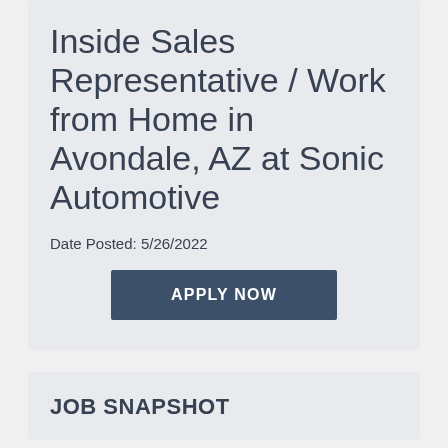Inside Sales Representative / Work from Home in Avondale, AZ at Sonic Automotive
Date Posted: 5/26/2022
[Figure (other): APPLY NOW button]
JOB SNAPSHOT